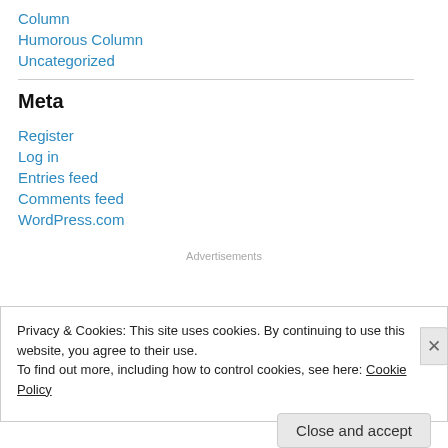Column
Humorous Column
Uncategorized
Meta
Register
Log in
Entries feed
Comments feed
WordPress.com
Advertisements
Privacy & Cookies: This site uses cookies. By continuing to use this website, you agree to their use.
To find out more, including how to control cookies, see here: Cookie Policy
Close and accept